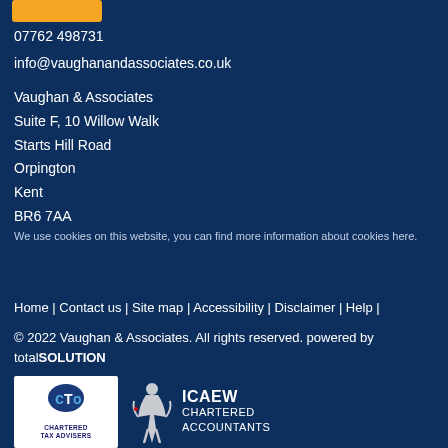[Figure (other): Orange button at top left]
07762 498731
info@vaughanandassociates.co.uk
Vaughan & Associates
Suite F, 10 Willow Walk
Starts Hill Road
Orpington
Kent
BR6 7AA
We use cookies on this website, you can find more information about cookies here.
Home | Contact us | Site map | Accessibility | Disclaimer | Help |
© 2022 Vaughan & Associates. All rights reserved. powered by totalSOLUTION
[Figure (logo): Chartered Tax Advisers (CTA) logo - white background with CTA emblem and text CHARTERED TAX ADVISERS]
[Figure (logo): ICAEW Chartered Accountants logo with figure and text ICAEW CHARTERED ACCOUNTANTS]